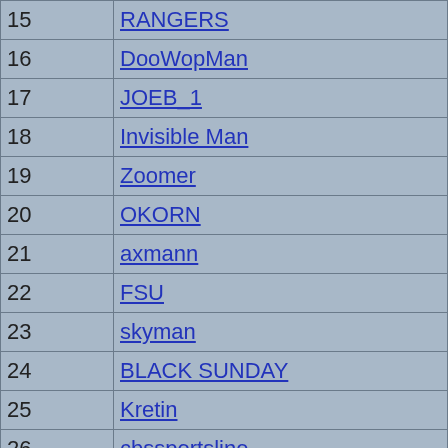| Rank | Name |
| --- | --- |
| 15 | RANGERS |
| 16 | DooWopMan |
| 17 | JOEB_1 |
| 18 | Invisible Man |
| 19 | Zoomer |
| 20 | OKORN |
| 21 | axmann |
| 22 | FSU |
| 23 | skyman |
| 24 | BLACK SUNDAY |
| 25 | Kretin |
| 26 | cbssportsline |
| 27 | Di3putts |
| 28 | FIELDING MELISH |
| 29 | CRUSHER |
| 30 | Captain Canuk |
| 31 | Destroyer |
| 32 | new york nathan |
| 33 | TheDeb |